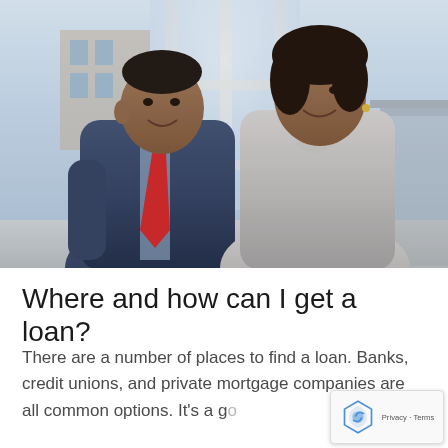[Figure (photo): Two business professionals, a man in a navy suit with a red tie and a woman in a gray blazer, standing and smiling inside a bright interior space with large windows in the background.]
Where and how can I get a loan?
There are a number of places to find a loan. Banks, credit unions, and private mortgage companies are all common options. It's a g...